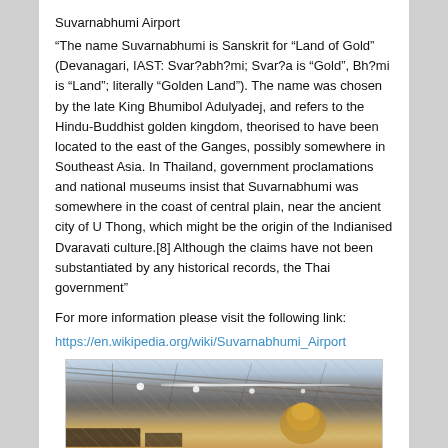Suvarnabhumi Airport
“The name Suvarnabhumi is Sanskrit for “Land of Gold” (Devanagari, IAST: Svar?abh?mi; Svar?a is “Gold”, Bh?mi is “Land”; literally “Golden Land”). The name was chosen by the late King Bhumibol Adulyadej, and refers to the Hindu-Buddhist golden kingdom, theorised to have been located to the east of the Ganges, possibly somewhere in Southeast Asia. In Thailand, government proclamations and national museums insist that Suvarnabhumi was somewhere in the coast of central plain, near the ancient city of U Thong, which might be the origin of the Indianised Dvaravati culture.[8] Although the claims have not been substantiated by any historical records, the Thai government”
For more information please visit the following link:
https://en.wikipedia.org/wiki/Suvarnabhumi_Airport
[Figure (photo): Interior photo of Suvarnabhumi Airport showing the ceiling structure, lighting, and a decorative golden sculpture element.]